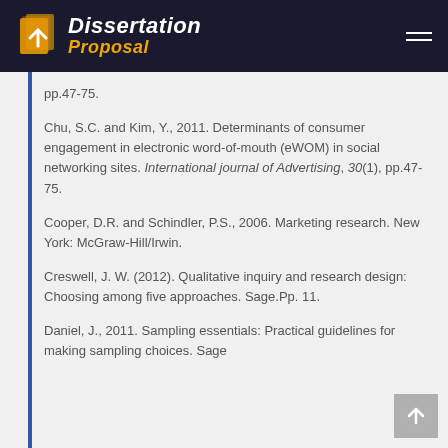Dissertation Proposal
pp.47-75.
Chu, S.C. and Kim, Y., 2011. Determinants of consumer engagement in electronic word-of-mouth (eWOM) in social networking sites. International journal of Advertising, 30(1), pp.47-75.
Cooper, D.R. and Schindler, P.S., 2006. Marketing research. New York: McGraw-Hill/Irwin.
Creswell, J. W. (2012). Qualitative inquiry and research design: Choosing among five approaches. Sage.Pp. 11.
Daniel, J., 2011. Sampling essentials: Practical guidelines for making sampling choices. Sage...